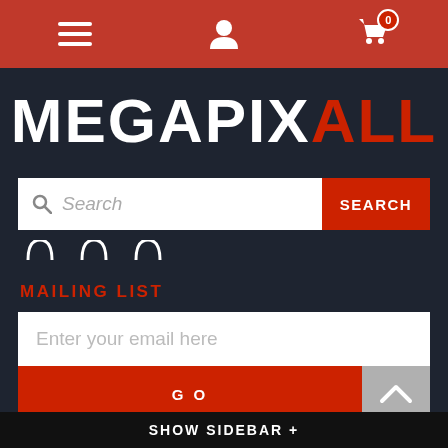[Figure (screenshot): Top navigation bar with hamburger menu, user icon, and shopping cart with badge showing 0]
MEGAPIXALL
[Figure (screenshot): Search bar with search icon placeholder text 'Search' and red SEARCH button]
MAILING LIST
[Figure (screenshot): Email input field with placeholder 'Enter your email here', GO button, Subscribe and Unsubscribe radio options]
SHOW SIDEBAR +